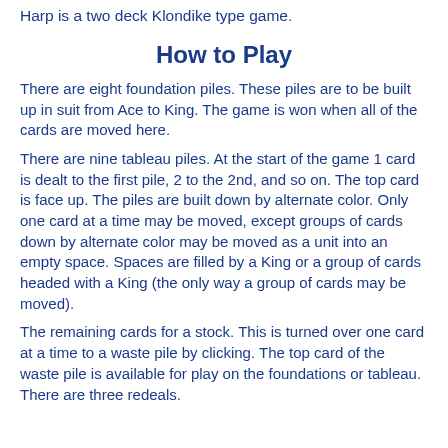Harp is a two deck Klondike type game.
How to Play
There are eight foundation piles. These piles are to be built up in suit from Ace to King. The game is won when all of the cards are moved here.
There are nine tableau piles. At the start of the game 1 card is dealt to the first pile, 2 to the 2nd, and so on. The top card is face up. The piles are built down by alternate color. Only one card at a time may be moved, except groups of cards down by alternate color may be moved as a unit into an empty space. Spaces are filled by a King or a group of cards headed with a King (the only way a group of cards may be moved).
The remaining cards for a stock. This is turned over one card at a time to a waste pile by clicking. The top card of the waste pile is available for play on the foundations or tableau. There are three redeals.